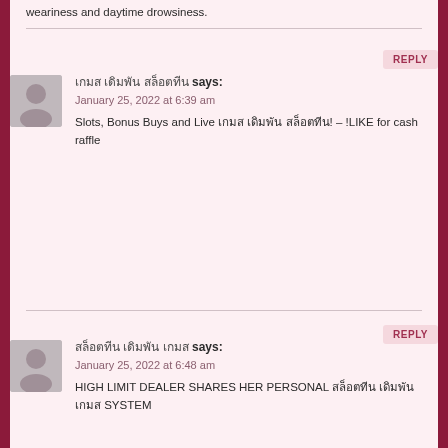weariness and daytime drowsiness.
REPLY
[Figure (illustration): Generic user avatar silhouette, grey background]
เกมส เดิมพัน สล็อตทีน says:
January 25, 2022 at 6:39 am
Slots, Bonus Buys and Live เกมส เดิมพัน สล็อตทีน! – !LIKE for cash raffle
REPLY
[Figure (illustration): Generic user avatar silhouette, grey background]
สล็อตทีน เดิมพัน เกมส says:
January 25, 2022 at 6:48 am
HIGH LIMIT DEALER SHARES HER PERSONAL สล็อตทีน เดิมพัน เกมส SYSTEM